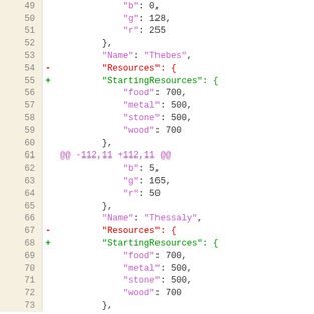[Figure (screenshot): A code diff view showing JSON lines 49–73 with line numbers, minus/plus markers for removed/added lines, and syntax highlighting. Lines 54 and 67 show removed 'Resources' key (red), lines 55 and 68 show added 'StartingResources' key (green). Lines 61 shows a diff hunk header in magenta.]